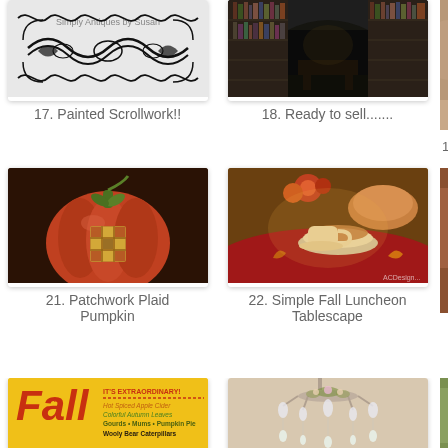[Figure (photo): Painted scrollwork decorative pattern on white background with ornate black swirls]
17. Painted Scrollwork!!
[Figure (photo): Dark home library/study room with floor-to-ceiling bookshelves, moody lighting]
18. Ready to sell.......
[Figure (photo): Partial image cut off on right edge - item 19]
[Figure (photo): Red decorative patchwork plaid pumpkin with green stem]
21. Patchwork Plaid Pumpkin
[Figure (photo): Autumn fall table setting with dishes, teacup, and fall leaf decorations on red tablecloth]
22. Simple Fall Luncheon Tablescape
[Figure (photo): Partial image cut off on right edge - item 23]
[Figure (photo): Yellow graphic with fall text: Fall IT'S EXTRAORDINARY! Hot Spiced Apple Cider, Colorful Autumn Leaves, Gourds, Mums, Pumpkin Pie, Wooly Bear Caterpillars]
[Figure (photo): Chandelier with hanging crystals and floral decorations, light tones]
[Figure (photo): Partial image cut off on right edge - item 27]